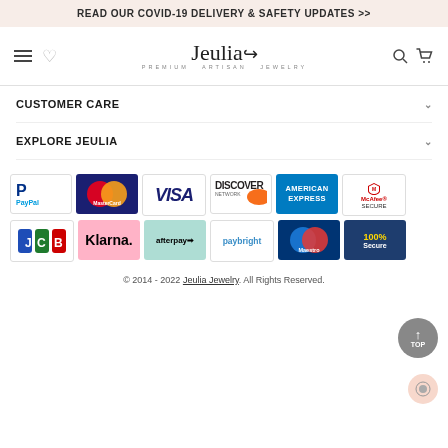READ OUR COVID-19 DELIVERY & SAFETY UPDATES >>
[Figure (logo): Jeulia Premium Artisan Jewelry logo with hamburger menu, heart icon, search and cart icons]
CUSTOMER CARE
EXPLORE JEULIA
[Figure (infographic): Payment method badges: PayPal, MasterCard, VISA, Discover Network, American Express, McAfee Secure, JCB, Klarna, afterpay, paybright, Maestro, 100% Secure]
© 2014 - 2022 Jeulia Jewelry. All Rights Reserved.